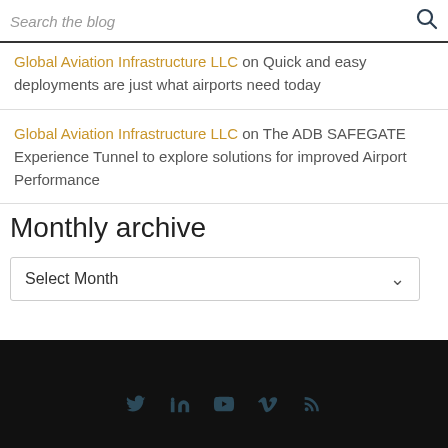Search the blog
Global Aviation Infrastructure LLC on Quick and easy deployments are just what airports need today
Global Aviation Infrastructure LLC on The ADB SAFEGATE Experience Tunnel to explore solutions for improved Airport Performance
Monthly archive
Select Month
Social media icons: Twitter, LinkedIn, YouTube, Vimeo, RSS